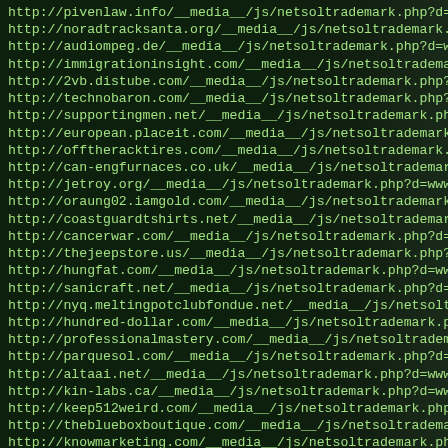http://pivenlaw.info/__media__/js/netsoltrademark.php?d=www.
http://noradtracksanta.org/__media__/js/netsoltrademark.php
http://audiompeg.de/__media__/js/netsoltrademark.php?d=www.
http://immigrationinsight.com/__media__/js/netsoltrademark.
http://2vb.distube.com/__media__/js/netsoltrademark.php?d=w
http://technobaron.com/__media__/js/netsoltrademark.php?d=w
http://supportingmen.net/__media__/js/netsoltrademark.php?d
http://european.placeit.com/__media__/js/netsoltrademark.ph
http://offtheracktires.com/__media__/js/netsoltrademark.php
http://can-engfurnaces.co.uk/__media__/js/netsoltrademark.p
http://jetroy.org/__media__/js/netsoltrademark.php?d=www.so
http://oraung02.iamgold.com/__media__/js/netsoltrademark.ph
http://coastguardtshirts.net/__media__/js/netsoltrademark.p
http://cancerwar.com/__media__/js/netsoltrademark.php?d=www
http://thejeepstore.us/__media__/js/netsoltrademark.php?d=w
http://hungfat.com/__media__/js/netsoltrademark.php?d=www.s
http://sanicraft.net/__media__/js/netsoltrademark.php?d=www
http://nyq.meltingpotclubfondue.net/__media__/js/netsolttrad
http://hundred-dollar.com/__media__/js/netsoltrademark.php?
http://professionalmastery.com/__media__/js/netsoltrademark
http://parquesol.com/__media__/js/netsoltrademark.php?d=www
http://altaai.net/__media__/js/netsoltrademark.php?d=www.so
http://kin-labs.ca/__media__/js/netsoltrademark.php?d=www.s
http://keep512weird.com/__media__/js/netsoltrademark.php?d=
http://theblueboxboutique.com/__media__/js/netsoltrademark.
http://knowmarketing.com/__media__/js/netsoltrademark.php?d
http://howtothrow.com/__media__/js/netsoltrademark.php?d=ww
http://shapirofamily1.com/__media__/js/netsoltrademark.php?
http://circleasset.net/__media__/js/netsoltrademark.php?d=w
http://drmary2.com/__media__/js/netsoltrademark.php?d=